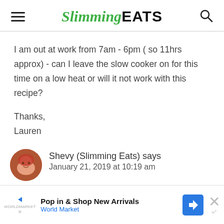Slimming EATS
I am out at work from 7am - 6pm ( so 11hrs approx) - can I leave the slow cooker on for this time on a low heat or will it not work with this recipe?
Thanks,
Lauren
Shevy (Slimming Eats) says
January 21, 2019 at 10:19 am
Pop in & Shop New Arrivals
World Market